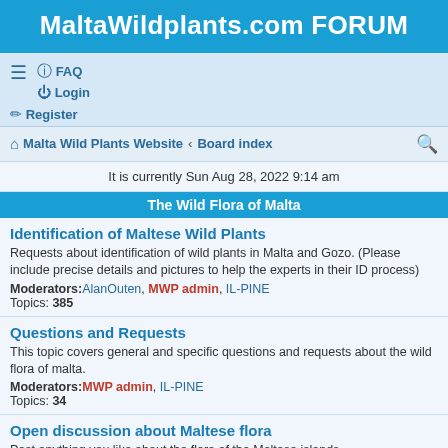MaltaWildplants.com FORUM
≡  FAQ  Login  Register
Malta Wild Plants Website · Board index
It is currently Sun Aug 28, 2022 9:14 am
The Wild Flora of Malta
Identification of Maltese Wild Plants
Requests about identification of wild plants in Malta and Gozo. (Please include precise details and pictures to help the experts in their ID process)
Moderators: AlanOuten, MWP admin, IL-PINE
Topics: 385
Questions and Requests
This topic covers general and specific questions and requests about the wild flora of malta.
Moderators: MWP admin, IL-PINE
Topics: 34
Open discussion about Maltese flora
Post anything you like about the flora of the Maltese islands.
Moderators: MWP admin, IL-PINE
Topics: 91
Bryophytes
Discussion about Mosses, Liverworts (and Hornworts).
Moderators: MWP admin, IL-PINE
Topics: 13